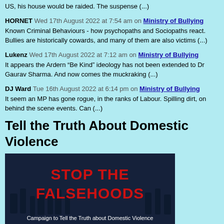US, his house would be raided. The suspense (...)
HORNET Wed 17th August 2022 at 7:54 am on Ministry of Bullying
Known Criminal Behaviours - how psychopaths and Sociopaths react. Bullies are historically cowards, and many of them are also victims (...)
Lukenz Wed 17th August 2022 at 7:12 am on Ministry of Bullying
It appears the Ardern “Be Kind” ideology has not been extended to Dr Gaurav Sharma. And now comes the muckraking (...)
DJ Ward Tue 16th August 2022 at 6:14 pm on Ministry of Bullying
It seem an MP has gone rogue, in the ranks of Labour. Spilling dirt, on behind the scene events. Can (...)
Tell the Truth About Domestic Violence
[Figure (photo): Dark blue banner with protest crowd in background. Red bold text reads 'STOP THE FALSEHOODS'. White text at bottom reads 'Campaign to Tell the Truth about Domestic Violence'.]